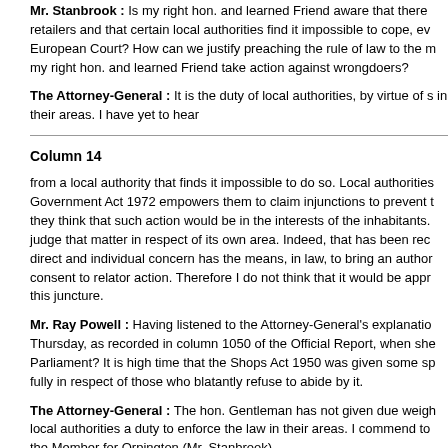Mr. Stanbrook : Is my right hon. and learned Friend aware that there retailers and that certain local authorities find it impossible to cope, ev European Court? How can we justify preaching the rule of law to the m my right hon. and learned Friend take action against wrongdoers?
The Attorney-General : It is the duty of local authorities, by virtue of s in their areas. I have yet to hear
Column 14
from a local authority that finds it impossible to do so. Local authorities Government Act 1972 empowers them to claim injunctions to prevent t they think that such action would be in the interests of the inhabitants. judge that matter in respect of its own area. Indeed, that has been rec direct and individual concern has the means, in law, to bring an author consent to relator action. Therefore I do not think that it would be appr this juncture.
Mr. Ray Powell : Having listened to the Attorney-General's explanatio Thursday, as recorded in column 1050 of the Official Report, when she Parliament? It is high time that the Shops Act 1950 was given some sp fully in respect of those who blatantly refuse to abide by it.
The Attorney-General : The hon. Gentleman has not given due weigh local authorities a duty to enforce the law in their areas. I commend to the Member for Orpington (Mr. Stanbrook).
Mr. Raison : Does not my right hon. and learned Friend accept that th inevitable? Does he agree that the only rational course is to go back to unsuccessfully, in the last Parliament? Does not he agree that total ref